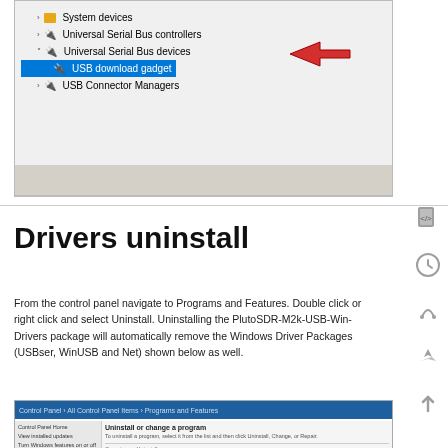[Figure (screenshot): Windows Device Manager showing Universal Serial Bus devices tree with USB download gadget highlighted, and a red arrow pointing to it]
Drivers uninstall
From the control panel navigate to Programs and Features. Double click or right click and select Uninstall. Uninstalling the PlutoSDR-M2k-USB-Win-Drivers package will automatically remove the Windows Driver Packages (USBser, WinUSB and Net) shown below as well.
[Figure (screenshot): Windows Control Panel Programs and Features window showing Uninstall or change a program screen]